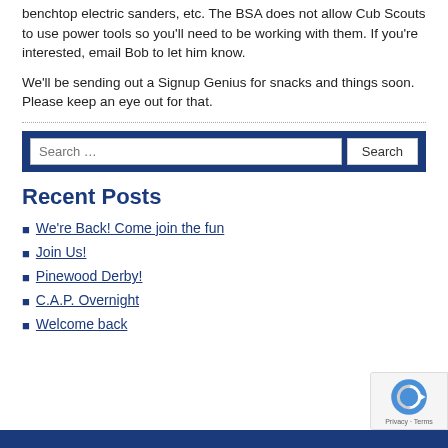benchtop electric sanders, etc. The BSA does not allow Cub Scouts to use power tools so you'll need to be working with them. If you're interested, email Bob to let him know.
We'll be sending out a Signup Genius for snacks and things soon. Please keep an eye out for that.
Recent Posts
We're Back! Come join the fun
Join Us!
Pinewood Derby!
C.A.P. Overnight
Welcome back